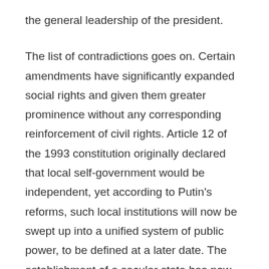the general leadership of the president.
The list of contradictions goes on. Certain amendments have significantly expanded social rights and given them greater prominence without any corresponding reinforcement of civil rights. Article 12 of the 1993 constitution originally declared that local self-government would be independent, yet according to Putin's reforms, such local institutions will now be swept up into a unified system of public power, to be defined at a later date. The establishment of a secular state has now been amended to highlight the historical influence of Russia's ancestors, particularly their belief in God. The 1993 constitution